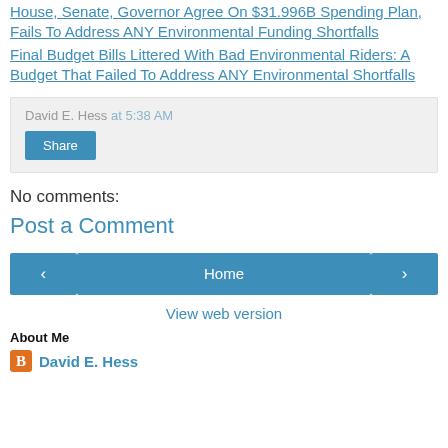House, Senate, Governor Agree On $31.996B Spending Plan, Fails To Address ANY Environmental Funding Shortfalls
Final Budget Bills Littered With Bad Environmental Riders: A Budget That Failed To Address ANY Environmental Shortfalls
David E. Hess at 5:38 AM
Share
No comments:
Post a Comment
‹  Home  ›
View web version
About Me
David E. Hess